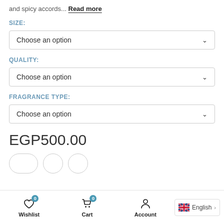and spicy accords… Read more
SIZE:
Choose an option
QUALITY:
Choose an option
FRAGRANCE TYPE:
Choose an option
EGP500.00
Wishlist  Cart  Account  English